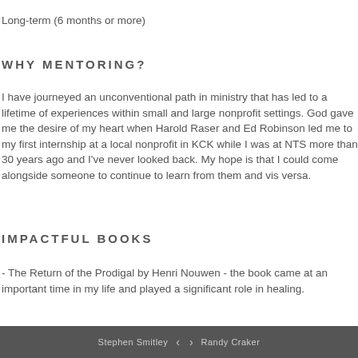Long-term (6 months or more)
WHY MENTORING?
I have journeyed an unconventional path in ministry that has led to a lifetime of experiences within small and large nonprofit settings. God gave me the desire of my heart when Harold Raser and Ed Robinson led me to my first internship at a local nonprofit in KCK while I was at NTS more than 30 years ago and I've never looked back. My hope is that I could come alongside someone to continue to learn from them and vis versa.
IMPACTFUL BOOKS
- The Return of the Prodigal by Henri Nouwen - the book came at an important time in my life and played a significant role in healing.
Stephen Smitley   <   >   Randy Craker